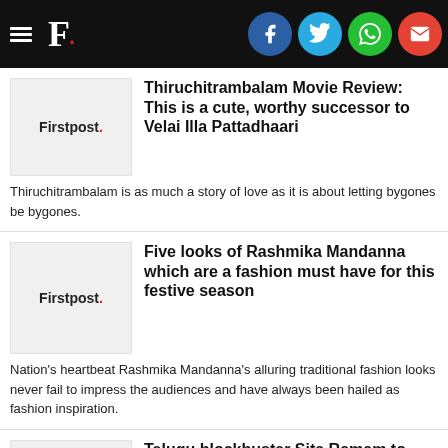Firstpost. — Social share bar with Facebook, Twitter, WhatsApp, Email
Thiruchitrambalam Movie Review: This is a cute, worthy successor to Velai Illa Pattadhaari
Thiruchitrambalam is as much a story of love as it is about letting bygones be bygones.
Five looks of Rashmika Mandanna which are a fashion must have for this festive season
Nation's heartbeat Rashmika Mandanna's alluring traditional fashion looks never fail to impress the audiences and have always been hailed as fashion inspiration.
Telugu blockbuster Sita Ramam to release in Hindi on 2nd September